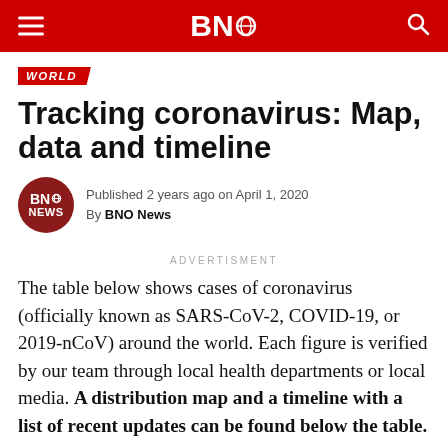BNO News
WORLD
Tracking coronavirus: Map, data and timeline
Published 2 years ago on April 1, 2020
By BNO News
ADVERTISMENT
The table below shows cases of coronavirus (officially known as SARS-CoV-2, COVID-19, or 2019-nCoV) around the world. Each figure is verified by our team through local health departments or local media. A distribution map and a timeline with a list of recent updates can be found below the table.